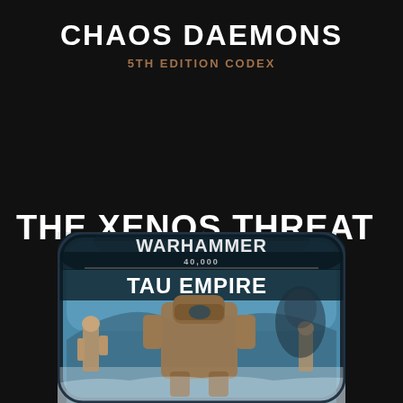CHAOS DAEMONS
5TH EDITION CODEX
THE XENOS THREAT
[Figure (photo): Warhammer 40,000 Tau Empire codex book cover showing futuristic mech warriors and battle suits against a cold landscape, displayed inside a rounded-corner frame.]